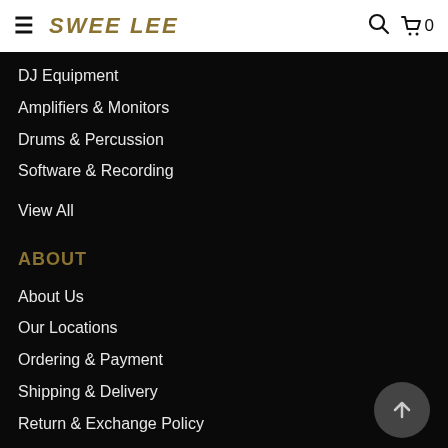≡  SWEE LEE  🔍 🛒 0
DJ Equipment
Amplifiers & Monitors
Drums & Percussion
Software & Recording
View All
ABOUT
About Us
Our Locations
Ordering & Payment
Shipping & Delivery
Return & Exchange Policy
Privacy Policy
Terms of Use
Contact Us
Warranty
Press
Careers